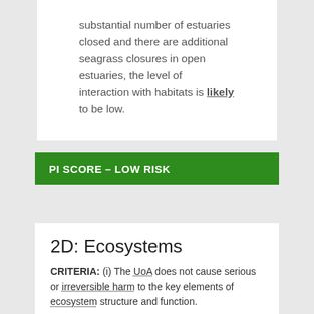substantial number of estuaries closed and there are additional seagrass closures in open estuaries, the level of interaction with habitats is likely to be low.
PI SCORE – LOW RISK
2D: Ecosystems
CRITERIA: (i) The UoA does not cause serious or irreversible harm to the key elements of ecosystem structure and function.
|  |  |
| --- | --- |
| (a) | LOW RISK |
| Ecosystem Status |  |